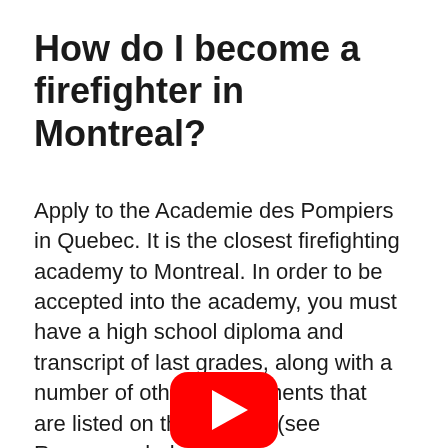How do I become a firefighter in Montreal?
Apply to the Academie des Pompiers in Quebec. It is the closest firefighting academy to Montreal. In order to be accepted into the academy, you must have a high school diploma and transcript of last grades, along with a number of other requirements that are listed on the website (see Resources below).
[Figure (other): YouTube play button icon — red rounded rectangle with white triangle pointing right]